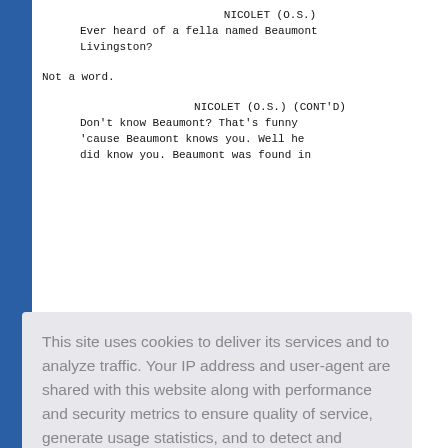NICOLET (O.S.)
Ever heard of a fella named Beaumont Livingston?
Not a word.
NICOLET (O.S.) (CONT'D)
Don't know Beaumont? That's funny 'cause Beaumont knows you. Well he did know you. Beaumont was found in
This site uses cookies to deliver its services and to analyze traffic. Your IP address and user-agent are shared with this website along with performance and security metrics to ensure quality of service, generate usage statistics, and to detect and address abuse.
Learn more
Got it!
If you don't want to talk to us, I guess we'll just have to hand you